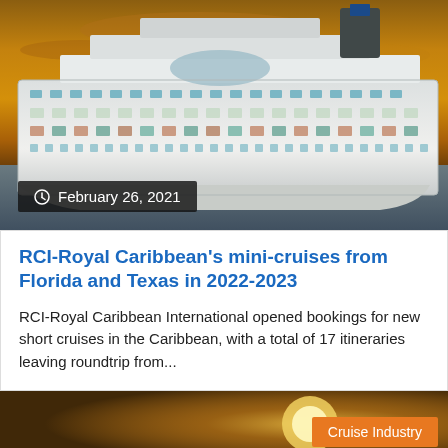[Figure (photo): A large Royal Caribbean cruise ship photographed against a dramatic golden sunset sky, sailing on open water]
February 26, 2021
RCI-Royal Caribbean's mini-cruises from Florida and Texas in 2022-2023
RCI-Royal Caribbean International opened bookings for new short cruises in the Caribbean, with a total of 17 itineraries leaving roundtrip from...
[Figure (photo): Partial view of another image with golden/sunset tones and a Cruise Industry category badge]